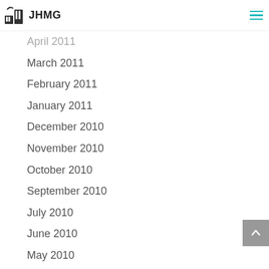JHMG
April 2011
March 2011
February 2011
January 2011
December 2010
November 2010
October 2010
September 2010
July 2010
June 2010
May 2010
April 2010
January 2010